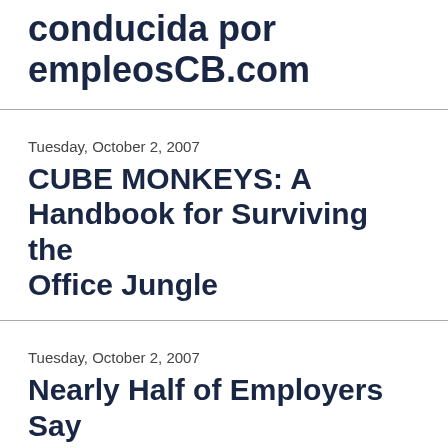conducida por empleosCB.com
Tuesday, October 2, 2007
CUBE MONKEYS: A Handbook for Surviving the Office Jungle
Tuesday, October 2, 2007
Nearly Half of Employers Say They Are Hiring Spanish-